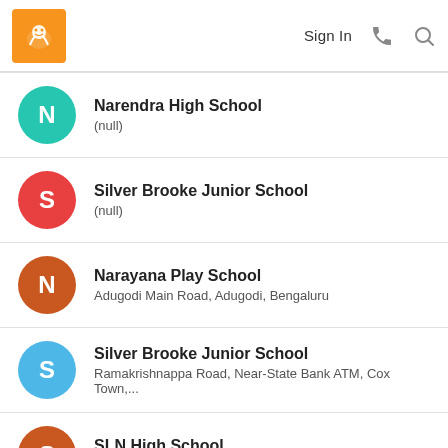Sign In
Narendra High School
(null)
Silver Brooke Junior School
(null)
Narayana Play School
Adugodi Main Road, Adugodi, Bengaluru
Silver Brooke Junior School
Ramakrishnappa Road, Near-State Bank ATM, Cox Town,...
SLN High School
(null)